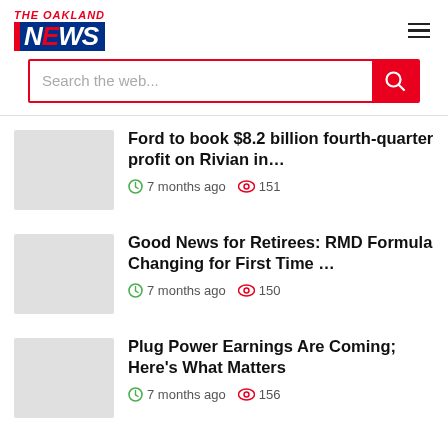THE OAKLAND NEWS
Ford to book $8.2 billion fourth-quarter profit on Rivian in…
7 months ago  151
Good News for Retirees: RMD Formula Changing for First Time …
7 months ago  150
Plug Power Earnings Are Coming; Here's What Matters
7 months ago  156